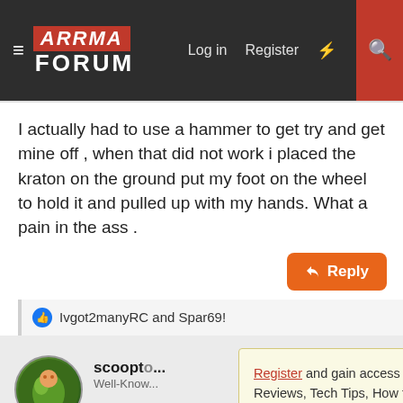ARRMA FORUM — Log in  Register
I actually had to use a hammer to get try and get mine off , when that did not work i placed the kraton on the ground put my foot on the wheel to hold it and pulled up with my hands. What a pain in the ass .
Reply
Ivgot2manyRC and Spar69!
scooptob Well-Know...
Register and gain access to Discussions, Reviews, Tech Tips, How to Articles, and much more - on the largest Arrma RC community for RC enthusiasts that covers all aspects of the Arrma-RC brand! Register Today It's free! This box will disappear once registered!
Sep 27, 2016
I had one wheel s... worked for me.